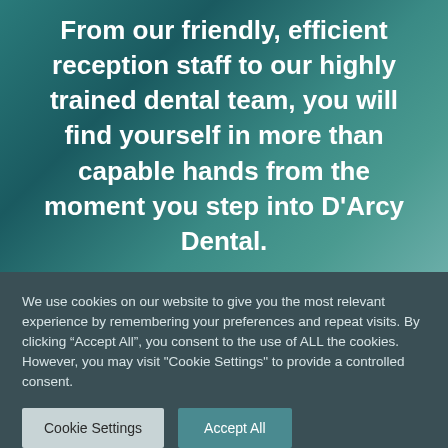[Figure (photo): Teal/dark teal textured background with large bold white centered text quote about D'Arcy Dental]
From our friendly, efficient reception staff to our highly trained dental team, you will find yourself in more than capable hands from the moment you step into D'Arcy Dental.
We use cookies on our website to give you the most relevant experience by remembering your preferences and repeat visits. By clicking “Accept All”, you consent to the use of ALL the cookies. However, you may visit "Cookie Settings" to provide a controlled consent.